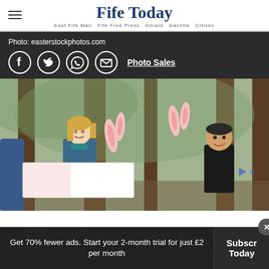Fife Today — East Fife Mail  Fife Free Press  Hörald  Gazette  Citizen
Photo: easterstockphotos.com
[Figure (infographic): Social sharing icons: Facebook, Twitter, WhatsApp, Email circles; plus Photo Sales link]
[Figure (photo): Children wearing Easter bunny ears peeking around trees in a woodland setting]
Get 70% fewer ads. Start your 2-month trial for just £2 per month
Subscribe Today